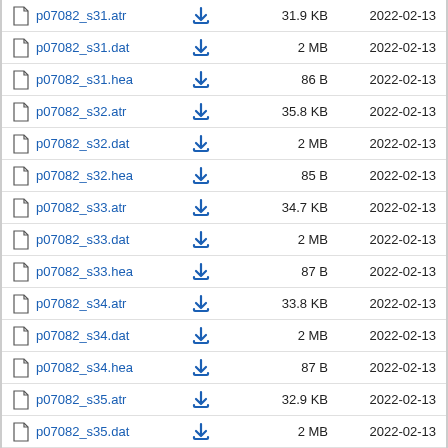p07082_s31.atr  31.9 KB  2022-02-13
p07082_s31.dat  2 MB  2022-02-13
p07082_s31.hea  86 B  2022-02-13
p07082_s32.atr  35.8 KB  2022-02-13
p07082_s32.dat  2 MB  2022-02-13
p07082_s32.hea  85 B  2022-02-13
p07082_s33.atr  34.7 KB  2022-02-13
p07082_s33.dat  2 MB  2022-02-13
p07082_s33.hea  87 B  2022-02-13
p07082_s34.atr  33.8 KB  2022-02-13
p07082_s34.dat  2 MB  2022-02-13
p07082_s34.hea  87 B  2022-02-13
p07082_s35.atr  32.9 KB  2022-02-13
p07082_s35.dat  2 MB  2022-02-13